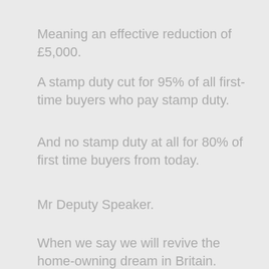Meaning an effective reduction of £5,000.
A stamp duty cut for 95% of all first-time buyers who pay stamp duty.
And no stamp duty at all for 80% of first time buyers from today.
Mr Deputy Speaker.
When we say we will revive the home-owning dream in Britain.
We mean it.
We do not underestimate the scale of the challenge